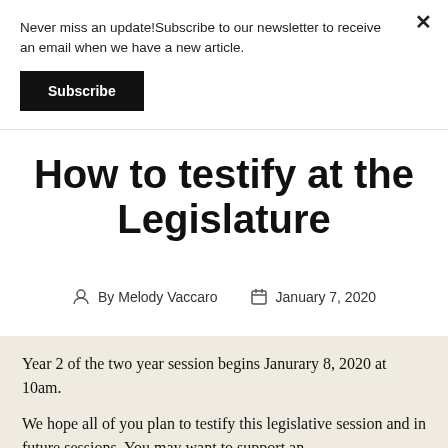Never miss an update!Subscribe to our newsletter to receive an email when we have a new article.
Subscribe
How to testify at the Legislature
By Melody Vaccaro   January 7, 2020
Year 2 of the two year session begins Janurary 8, 2020 at 10am.
We hope all of you plan to testify this legislative session and in future sessions. You may want to support an